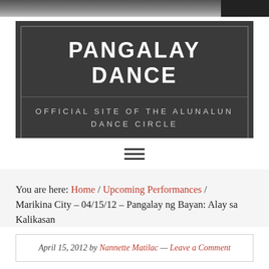PANGALAY DANCE — OFFICIAL SITE OF THE ALUNALUN DANCE CIRCLE
[Figure (other): Hamburger menu icon (three horizontal lines)]
You are here: Home / Upcoming Performances / Marikina City – 04/15/12 – Pangalay ng Bayan: Alay sa Kalikasan
April 15, 2012 by Nannette Matilac — Leave a Comment